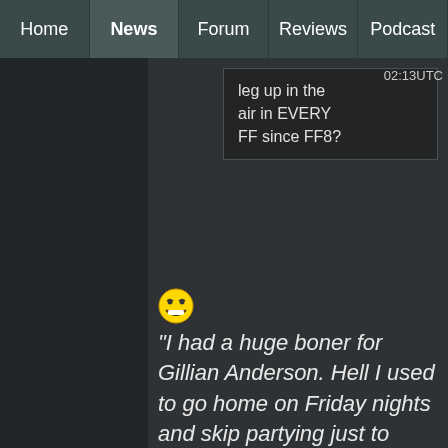Home | News | Forum | Reviews | Podcast
leg up in the air in EVERY FF since FF8?
02:13UTC
[Figure (other): Grinning smiley face emoji]
"I had a huge boner for Gillian Anderson. Hell I used to go home on Friday nights and skip partying just to watch her. For me it was the combo of those sexy eyes and those insane lips. Mamma Mia. Plus